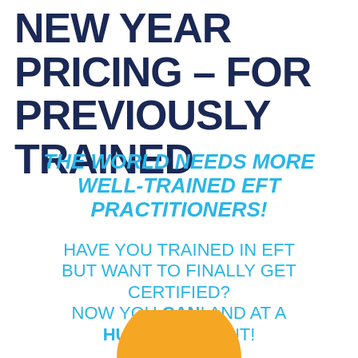NEW YEAR PRICING – FOR PREVIOUSLY TRAINED
THE WORLD NEEDS MORE WELL-TRAINED EFT PRACTITIONERS!
HAVE YOU TRAINED IN EFT BUT WANT TO FINALLY GET CERTIFIED? NOW YOU CAN! AND AT A HUGE DISCOUNT!
[Figure (illustration): Orange semicircle sun shape at the bottom of the page]